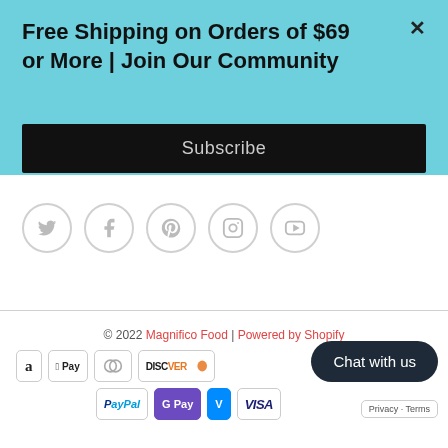Free Shipping on Orders of $69 or More | Join Our Community
Subscribe
[Figure (screenshot): Social media icons: Twitter, Facebook, Pinterest, Instagram, YouTube — circular outlined icons]
© 2022 Magnifico Food | Powered by Shopify
[Figure (screenshot): Payment method icons: Amazon, Apple Pay, Diners Club, Discover, PayPal, GPay, Venmo, Visa. Red circular shopping cart button. Dark rounded Chat with us button. Privacy Terms badge.]